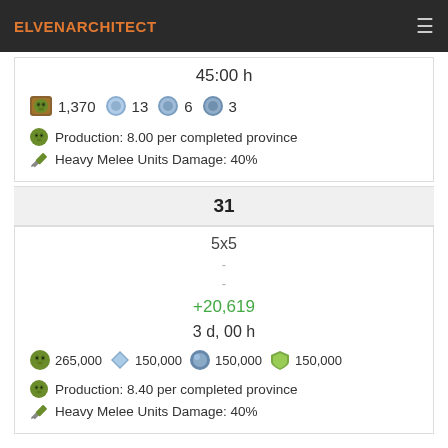ELVENARCHITECT
45:00 h
1,370  13  6  3
Production: 8.00 per completed province
Heavy Melee Units Damage: 40%
31
5x5
-
-
+20,619
3 d, 00 h
265,000  150,000  150,000  150,000
Production: 8.40 per completed province
Heavy Melee Units Damage: 40%